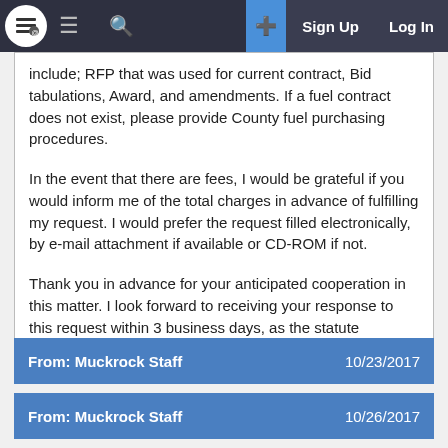MuckRock — Sign Up  Log In
include; RFP that was used for current contract, Bid tabulations, Award, and amendments. If a fuel contract does not exist, please provide County fuel purchasing procedures.
In the event that there are fees, I would be grateful if you would inform me of the total charges in advance of fulfilling my request. I would prefer the request filled electronically, by e-mail attachment if available or CD-ROM if not.
Thank you in advance for your anticipated cooperation in this matter. I look forward to receiving your response to this request within 3 business days, as the statute requires.
From: Muckrock Staff   10/23/2017
From: Muckrock Staff   10/26/2017